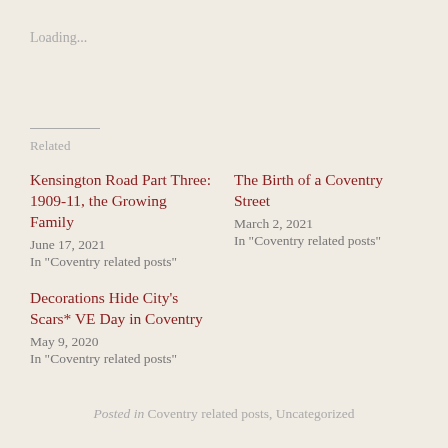Loading...
Related
Kensington Road Part Three: 1909-11, the Growing Family
June 17, 2021
In "Coventry related posts"
The Birth of a Coventry Street
March 2, 2021
In "Coventry related posts"
Decorations Hide City's Scars* VE Day in Coventry
May 9, 2020
In "Coventry related posts"
Posted in Coventry related posts, Uncategorized